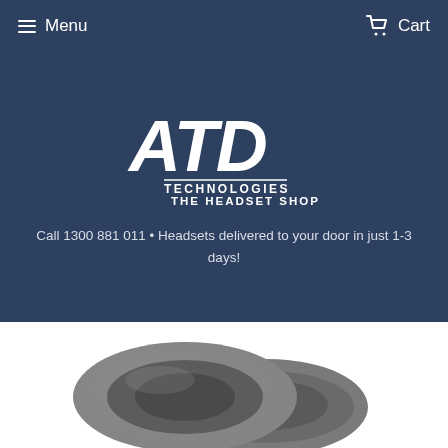Menu  Cart
[Figure (logo): ATD Technologies The Headset Shop logo — bold white italic 'ATD' lettering above 'TECHNOLOGIES' and 'THE HEADSET SHOP' in white sans-serif text on dark navy background]
Call 1300 881 011 • Headsets delivered to your door in just 1-3 days!
[Figure (photo): Two circular foam ear cushion pads for headsets, dark grey/charcoal color, photographed on white background]